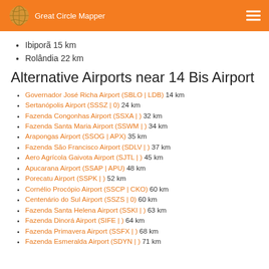Great Circle Mapper
Ibiporã 15 km
Rolândia 22 km
Alternative Airports near 14 Bis Airport
Governador José Richa Airport (SBLO | LDB) 14 km
Sertanópolis Airport (SSSZ | 0) 24 km
Fazenda Congonhas Airport (SSXA | ) 32 km
Fazenda Santa Maria Airport (SSWM | ) 34 km
Arapongas Airport (SSOG | APX) 35 km
Fazenda São Francisco Airport (SDLV | ) 37 km
Aero Agrícola Gaivota Airport (SJTL | ) 45 km
Apucarana Airport (SSAP | APU) 48 km
Porecatu Airport (SSPK | ) 52 km
Cornélio Procópio Airport (SSCP | CKO) 60 km
Centenário do Sul Airport (SSZS | 0) 60 km
Fazenda Santa Helena Airport (SSKI | ) 63 km
Fazenda Dinorá Airport (SIFE | ) 64 km
Fazenda Primavera Airport (SSFX | ) 68 km
Fazenda Esmeralda Airport (SDYN | ) 71 km